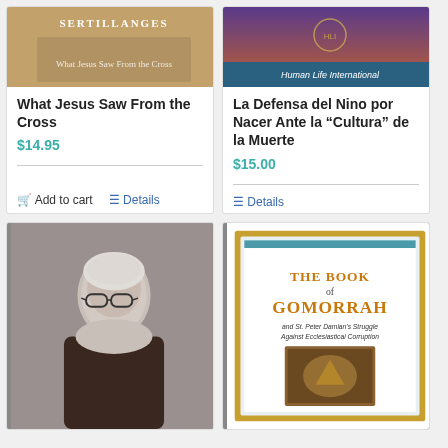[Figure (screenshot): Book cover for 'What Jesus Saw From the Cross' by Sertillanges with tan/warm colored cover]
What Jesus Saw From the Cross
$14.95
Add to cart
Details
[Figure (screenshot): Book cover for 'La Defensa del Nino por Nacer Ante la Cultura de la Muerte' with Human Life International branding, purple/teal design]
La Defensa del Nino por Nacer Ante la “Cultura” de la Muerte
$15.00
Details
[Figure (photo): Black and white portrait photo of an elderly man with glasses and white hair]
[Figure (screenshot): Book cover for 'The Book of Gomorrah and St. Peter Damian's Struggle Against Ecclesiastical Corruption' with gold border and illustrated interior image]